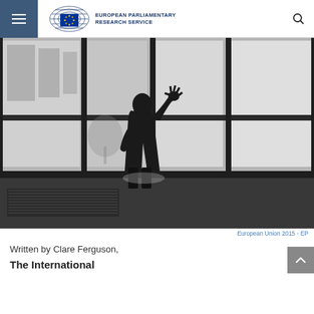European Parliamentary Research Service
[Figure (photo): Black and white photo of a child's silhouette standing at a large window with grid panes, hand pressed against the glass, foggy cityscape visible outside]
European Union 2015 - EP
Written by Clare Ferguson,
The International